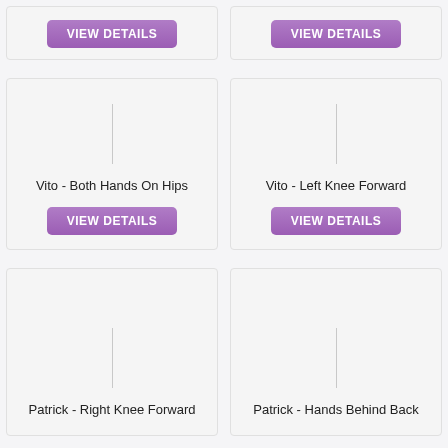[Figure (screenshot): Partial card top-left with VIEW DETAILS button]
[Figure (screenshot): Partial card top-right with VIEW DETAILS button]
Vito - Both Hands On Hips
Vito - Left Knee Forward
Patrick - Right Knee Forward
Patrick - Hands Behind Back